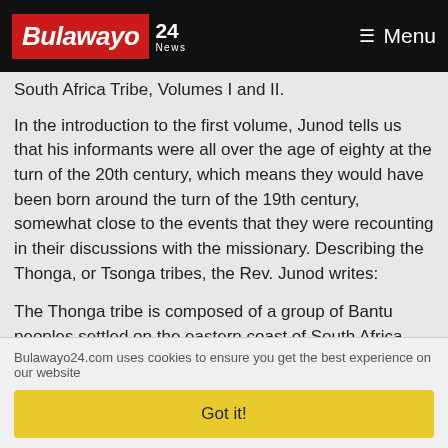Bulawayo 24 News — Menu
South Africa Tribe, Volumes I and II.
In the introduction to the first volume, Junod tells us that his informants were all over the age of eighty at the turn of the 20th century, which means they would have been born around the turn of the 19th century, somewhat close to the events that they were recounting in their discussions with the missionary. Describing the Thonga, or Tsonga tribes, the Rev. Junod writes:
The Thonga tribe is composed of a group of Bantu peoples settled on the eastern coast of South Africa, extending from the neighborhood of St. Lucia Bay (28o Lat. S.) on the Natal Coast up the Sabie River on the north. Thongas are to be found there in four of the present South African states: in
Bulawayo24.com uses cookies to ensure you get the best experience on our website
Got it!